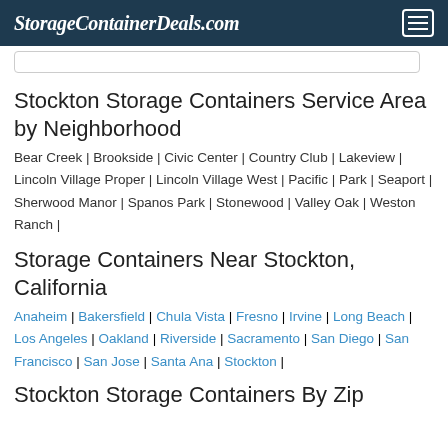StorageContainerDeals.com
Stockton Storage Containers Service Area by Neighborhood
Bear Creek | Brookside | Civic Center | Country Club | Lakeview | Lincoln Village Proper | Lincoln Village West | Pacific | Park | Seaport | Sherwood Manor | Spanos Park | Stonewood | Valley Oak | Weston Ranch |
Storage Containers Near Stockton, California
Anaheim | Bakersfield | Chula Vista | Fresno | Irvine | Long Beach | Los Angeles | Oakland | Riverside | Sacramento | San Diego | San Francisco | San Jose | Santa Ana | Stockton |
Stockton Storage Containers By Zip